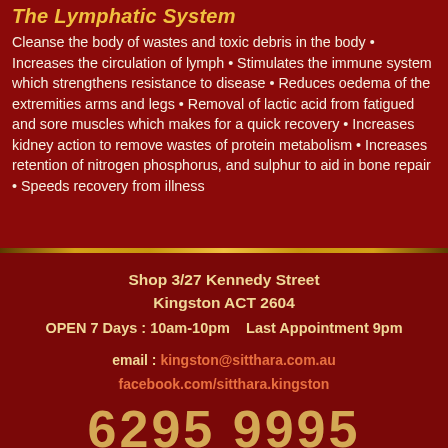The Lymphatic System
Cleanse the body of wastes and toxic debris in the body • Increases the circulation of lymph • Stimulates the immune system which strengthens resistance to disease • Reduces oedema of the extremities arms and legs • Removal of lactic acid from fatigued and sore muscles which makes for a quick recovery • Increases kidney action to remove wastes of protein metabolism • Increases retention of nitrogen phosphorus, and sulphur to aid in bone repair • Speeds recovery from illness
Shop 3/27 Kennedy Street Kingston ACT 2604 OPEN 7 Days : 10am-10pm   Last Appointment 9pm email : kingston@sitthara.com.au facebook.com/sitthara.kingston 6295 9995 Strictly Therapeutic Massage Only